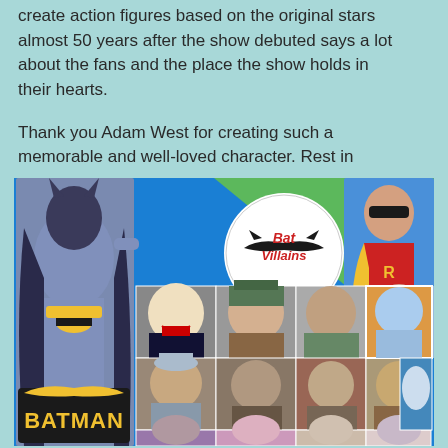create action figures based on the original stars almost 50 years after the show debuted says a lot about the fans and the place the show holds in their hearts.
Thank you Adam West for creating such a memorable and well-loved character.  Rest in peace.
[Figure (photo): Batman TV show collage image featuring Batman and Robin characters in costume at the top, a 'Bat Villains' logo circle, a grid of villain character photos below, and the Batman logo at the bottom left.]